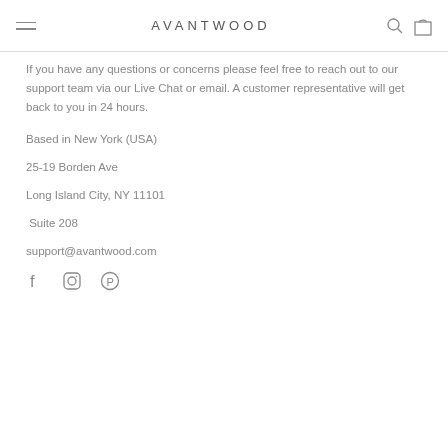AVANTWOOD
If you have any questions or concerns please feel free to reach out to our support team via our Live Chat or email. A customer representative will get back to you in 24 hours.
Based in New York (USA)
25-19 Borden Ave
Long Island City, NY 11101
Suite 208
support@avantwood.com
[Figure (other): Social media icons: Facebook, Instagram, Pinterest]